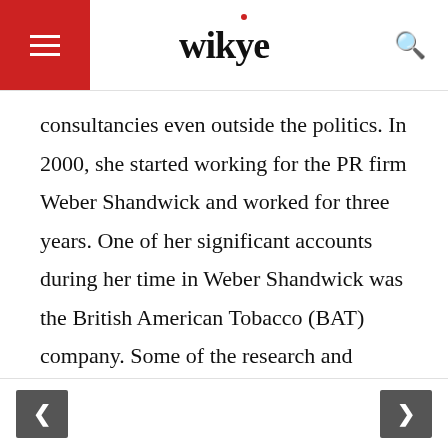wikye
consultancies even outside the politics. In 2000, she started working for the PR firm Weber Shandwick and worked for three years. One of her significant accounts during her time in Weber Shandwick was the British American Tobacco (BAT) company. Some of the research and investigations against her also suggest that she played the role of lobbying the MEPs to loosen EU tobacco regulations